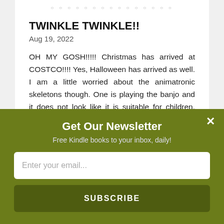[Figure (other): Pagination dots row at the top of a carousel/slider]
TWINKLE TWINKLE!!
Aug 19, 2022
OH MY GOSH!!!!! Christmas has arrived at COSTCO!!!! Yes, Halloween has arrived as well. I am a little worried about the animatronic skeletons though. One is playing the banjo and it does not look like it is suitable for children. Maybe a customer messed with it. If…
read more
Get Our Newsletter
Free Kindle books to your inbox, daily!
Enter your email...
SUBSCRIBE